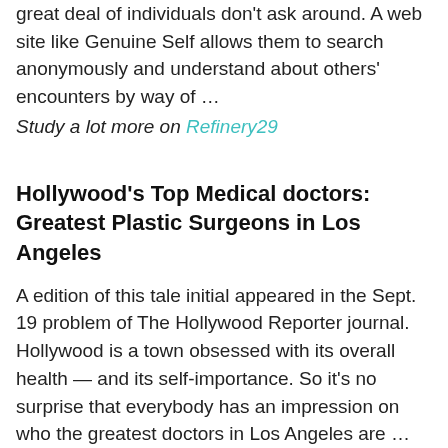great deal of individuals don't ask around. A web site like Genuine Self allows them to search anonymously and understand about others' encounters by way of …
Study a lot more on Refinery29
Hollywood's Top Medical doctors: Greatest Plastic Surgeons in Los Angeles
A edition of this tale initial appeared in the Sept. 19 problem of The Hollywood Reporter journal. Hollywood is a town obsessed with its overall health — and its self-importance. So it's no surprise that everybody has an impression on who the greatest doctors in Los Angeles are …
Study a lot more on Hollywood Reporter